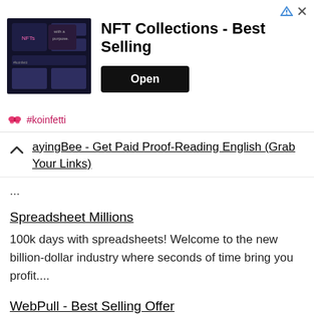[Figure (other): Advertisement banner for NFT Collections - Best Selling app by #koinfetti, showing a dark-themed app screenshot with an 'Open' button and sponsored icons in the top-right corner.]
ayingBee - Get Paid Proof-Reading English (Grab Your Links)
...
Spreadsheet Millions
100k days with spreadsheets! Welcome to the new billion-dollar industry where seconds of time bring you profit....
WebPull - Best Selling Offer
...
Mid Year Madness 2022